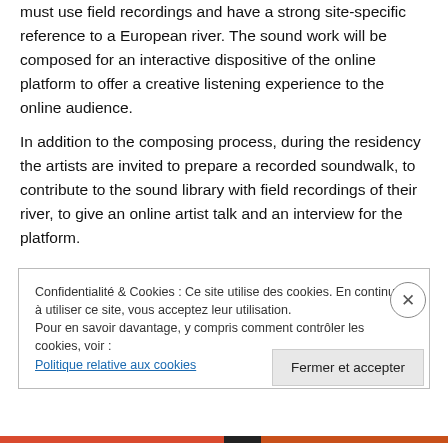must use field recordings and have a strong site-specific reference to a European river. The sound work will be composed for an interactive dispositive of the online platform to offer a creative listening experience to the online audience.
In addition to the composing process, during the residency the artists are invited to prepare a recorded soundwalk, to contribute to the sound library with field recordings of their river, to give an online artist talk and an interview for the platform.
Confidentialité & Cookies : Ce site utilise des cookies. En continuant à utiliser ce site, vous acceptez leur utilisation.
Pour en savoir davantage, y compris comment contrôler les cookies, voir :
Politique relative aux cookies
Fermer et accepter